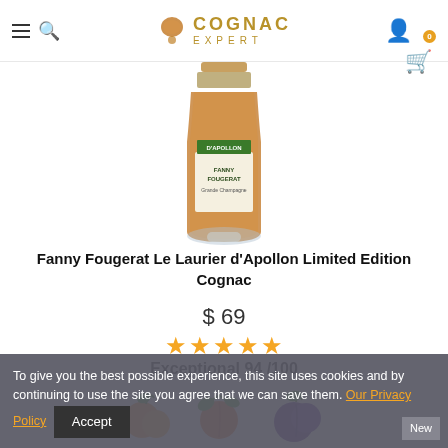Cognac Expert (navigation header with hamburger, search, logo, user, cart)
[Figure (photo): Cognac bottle labeled 'D'Apollon Fanny Fougerat' with amber liquid, partially cut off at top]
Fanny Fougerat Le Laurier d'Apollon Limited Edition Cognac
$ 69
[Figure (other): Five orange stars rating display]
Exceptional 94 /100
[Figure (photo): Fruit icons: apricot, peach, plum]
To give you the best possible experience, this site uses cookies and by continuing to use the site you agree that we can save them. Our Privacy Policy  Accept